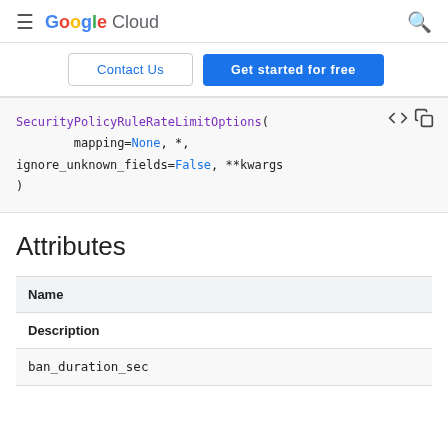Google Cloud
[Figure (screenshot): Navigation bar with Contact Us and Get started for free buttons]
[Figure (screenshot): Code block showing SecurityPolicyRuleRateLimitOptions(mapping=None, *, ignore_unknown_fields=False, **kwargs)]
Attributes
| Name | Description |
| --- | --- |
| ban_duration_sec |  |